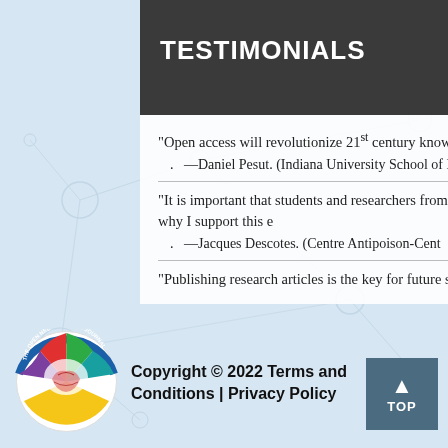TESTIMONIALS
"Open access will revolutionize 21st century knowledge dissemination and evidence that support just in time learning and practice across disciplines."
—Daniel Pesut. (Indiana University School of Nursing, USA).
"It is important that students and researchers from all over the world have access to relevant, high-standard and timely scientific information. This is what Open Access Journals provide and this is the reason why I support this endeavor."
—Jacques Descotes. (Centre Antipoison-Centre de Pharmacovigilance, France).
"Publishing research articles is the key for future s
[Figure (logo): The Open Neuroimaging Journal circular logo with colorful brain illustration]
Copyright © 2022 Terms and Conditions | Privacy Policy